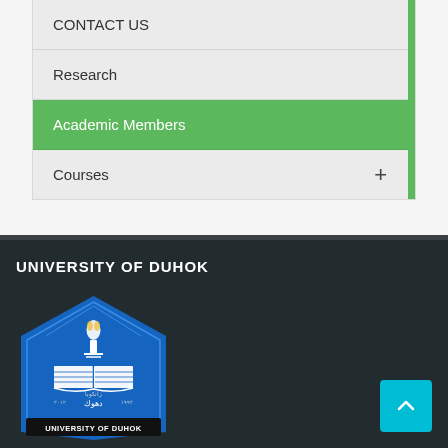CONTACT US
Research
Academic Members
Courses +
UNIVERSITY OF DUHOK
[Figure (logo): University of Duhok logo — blue shield/house shape with torch, open book, Arabic text, and 'UNIVERSITY OF DUHOK' banner at bottom]